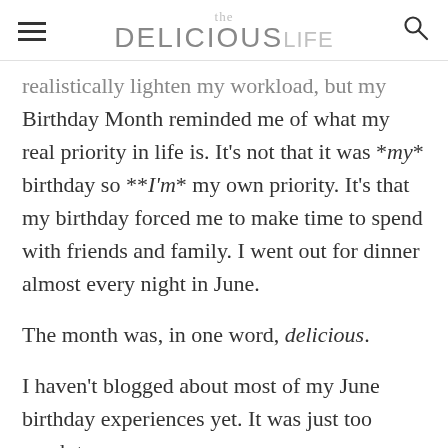the DELICIOUS life
realistically lighten my workload, but my Birthday Month reminded me of what my real priority in life is. It’s not that it was *my* birthday so **I’m* my own priority. It’s that my birthday forced me to make time to spend with friends and family. I went out for dinner almost every night in June.
The month was, in one word, delicious.
I haven’t blogged about most of my June birthday experiences yet. It was just too much to